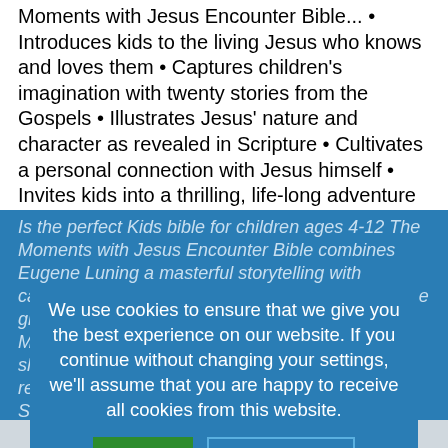Moments with Jesus Encounter Bible... • Introduces kids to the living Jesus who knows and loves them • Captures children's imagination with twenty stories from the Gospels • Illustrates Jesus' nature and character as revealed in Scripture • Cultivates a personal connection with Jesus himself • Invites kids into a thrilling, life-long adventure with God • Empowers children to actively engage with Scripture •
Is the perfect Kids bible for children ages 4-12 The Moments with Jesus Encounter Bible combines Eugene Luning a masterful storytelling with captivating artwork by... The Moments with Jesus Encounter Bible will help shepherd your kids into a thriving, dynamic relationship with Jesus. What are you waiting for? St...
We use cookies to ensure that we give you the best experience on our website. If you continue without changing your settings, we'll assume that you are happy to receive all cookies from this website.